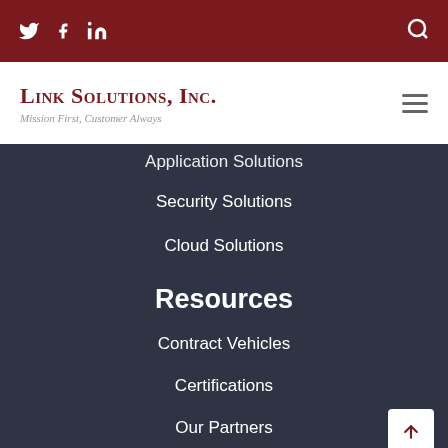Twitter Facebook LinkedIn [search icon]
[Figure (logo): Link Solutions, Inc. logo with tagline 'Mission First, Customer Always']
Application Solutions
Security Solutions
Cloud Solutions
Resources
Contract Vehicles
Certifications
Our Partners
Company (partially visible)